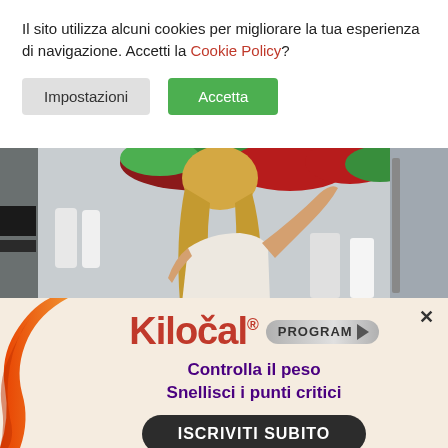Il sito utilizza alcuni cookies per migliorare la tua esperienza di navigazione. Accetti la Cookie Policy?
Impostazioni
Accetta
[Figure (photo): Woman with long blonde hair viewed from behind, looking into an open refrigerator stocked with fresh vegetables and fruits.]
[Figure (infographic): Kilocal Program advertisement banner with orange swirl decoration on the left, Kilocal logo in red, PROGRAM pill badge, tagline 'Controlla il peso Snellisci i punti critici' in purple bold, and 'ISCRIVITI SUBITO' CTA button in dark rounded rectangle.]